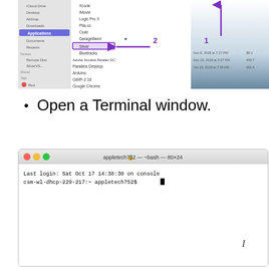[Figure (screenshot): macOS Finder window showing Applications folder with 'Silver' app highlighted in purple box, annotated with numbered arrows 1 (pointing up-right) and 2 (pointing to Silver item)]
Open a Terminal window.
[Figure (screenshot): macOS Terminal window showing bash shell with title 'appletech752 — ~bash — 80x24', login message 'Last login: Sat Oct 17 14:38:30 on console' and prompt 'csm-wl-dhcp-229-217:~ appletech752$' with cursor, and a text cursor (I-beam) in the lower right area]